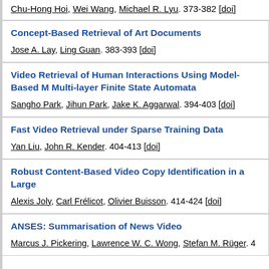Chu-Hong Hoi, Wei Wang, Michael R. Lyu. 373-382 [doi]
Concept-Based Retrieval of Art Documents
Jose A. Lay, Ling Guan. 383-393 [doi]
Video Retrieval of Human Interactions Using Model-Based Multi-layer Finite State Automata
Sangho Park, Jihun Park, Jake K. Aggarwal. 394-403 [doi]
Fast Video Retrieval under Sparse Training Data
Yan Liu, John R. Kender. 404-413 [doi]
Robust Content-Based Video Copy Identification in a Large
Alexis Joly, Carl Frélicot, Olivier Buisson. 414-424 [doi]
ANSES: Summarisation of News Video
Marcus J. Pickering, Lawrence W. C. Wong, Stefan M. Rüger. 4